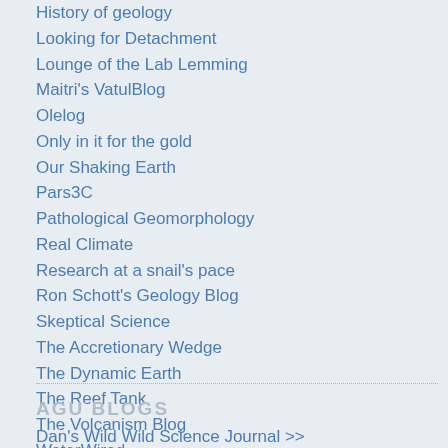History of geology
Looking for Detachment
Lounge of the Lab Lemming
Maitri's VatulBlog
Olelog
Only in it for the gold
Our Shaking Earth
Pars3C
Pathological Geomorphology
Real Climate
Research at a snail's pace
Ron Schott's Geology Blog
Skeptical Science
The Accretionary Wedge
The Dynamic Earth
The Reef Tank
The Volcanism Blog
WaterWired
What On Earth
Women in Planetary Science
AGU BLOGS
Dan's Wild Wild Science Journal >>
Editors' Vox >>